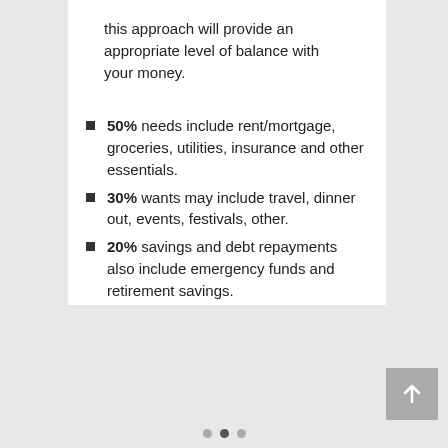this approach will provide an appropriate level of balance with your money.
50% needs include rent/mortgage, groceries, utilities, insurance and other essentials.
30% wants may include travel, dinner out, events, festivals, other.
20% savings and debt repayments also include emergency funds and retirement savings.